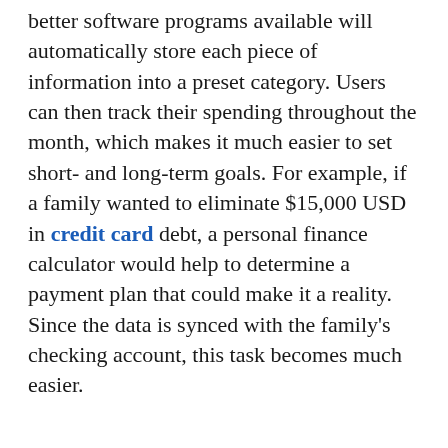better software programs available will automatically store each piece of information into a preset category. Users can then track their spending throughout the month, which makes it much easier to set short- and long-term goals. For example, if a family wanted to eliminate $15,000 USD in credit card debt, a personal finance calculator would help to determine a payment plan that could make it a reality. Since the data is synced with the family's checking account, this task becomes much easier.